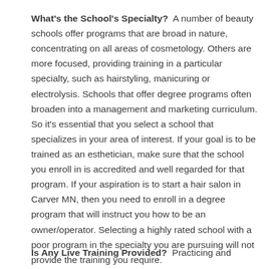What's the School's Specialty? A number of beauty schools offer programs that are broad in nature, concentrating on all areas of cosmetology. Others are more focused, providing training in a particular specialty, such as hairstyling, manicuring or electrolysis. Schools that offer degree programs often broaden into a management and marketing curriculum. So it's essential that you select a school that specializes in your area of interest. If your goal is to be trained as an esthetician, make sure that the school you enroll in is accredited and well regarded for that program. If your aspiration is to start a hair salon in Carver MN, then you need to enroll in a degree program that will instruct you how to be an owner/operator. Selecting a highly rated school with a poor program in the specialty you are pursuing will not provide the training you require.
Is Any Live Training Provided? Practicing and